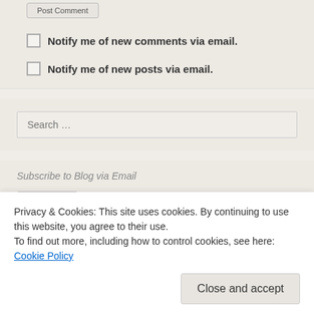Post Comment
Notify me of new comments via email.
Notify me of new posts via email.
Search …
Subscribe to Blog via Email
Subscribe
Privacy & Cookies: This site uses cookies. By continuing to use this website, you agree to their use.
To find out more, including how to control cookies, see here: Cookie Policy
Close and accept